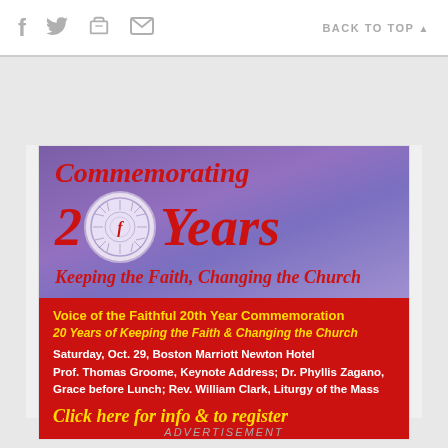f  🐦  🖨  ✉   BACK TO TOP ▲
[Figure (illustration): Advertisement banner for Voice of the Faithful 20th Year Commemoration. Purple gradient top section with red italic text 'Commemorating 20 Years' with a circular logo replacing the zero, and subtitle 'Keeping the Faith, Changing the Church'. Red bottom section with yellow and white text details about the event on Saturday, Oct. 29, Boston Marriott Newton Hotel, featuring Prof. Thomas Groome, Dr. Phyllis Zagano, Rev. William Clark, and a yellow italic 'Click here for info & to register' call to action.]
ADVERTISEMENT